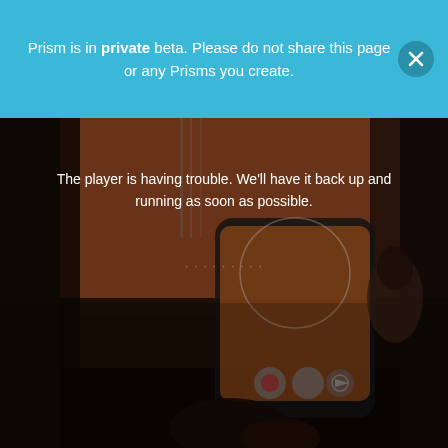Prism is in private beta. Please do not share this page or any Prisms you create.
[Figure (screenshot): Dark video player area showing a hand holding a smartphone with guitar in background. Error message overlay reads: The player is having trouble. We'll have it back up and running as soon as possible.]
The player is having trouble. We'll have it back up and running as soon as possible.